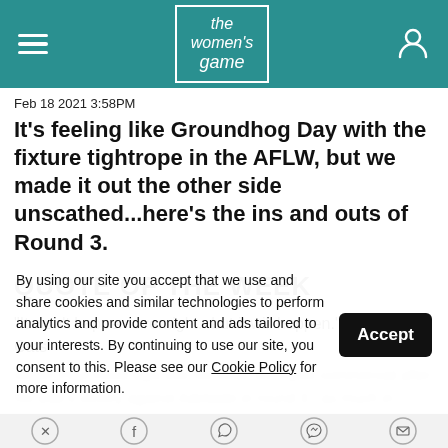the women's game
Feb 18 2021 3:58PM
It's feeling like Groundhog Day with the fixture tightrope in the AFLW, but we made it out the other side unscathed...here's the ins and outs of Round 3.
QUOTE OF THE WEEK
"It won't happen overnight...but it will happen." Geelong Cats coach Paul Hood taps into his inner shampoo commercial after his side's victory against Adelaide in round 3 - as much in effect as this blurred text continues.
By using our site you accept that we use and share cookies and similar technologies to perform analytics and provide content and ads tailored to your interests. By continuing to use our site, you consent to this. Please see our Cookie Policy for more information.